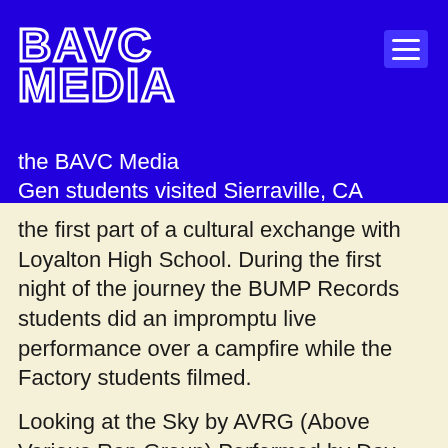October 20, 2016 | Comments Off
[Figure (logo): BAVC Media logo in white outlined text on blue background]
the BAVC Media Gen students visited Sierraville, CA for the first part of a cultural exchange with Loyalton High School. During the first night of the journey the BUMP Records students did an impromptu live performance over a campfire while the Factory students filmed.
Looking at the Sky by AVRG (Above Various Rap Group) Performed by Day Day and Reu.
Track available at https://bumprecords.bandcamp.com/track the-sky-prod-by-mg